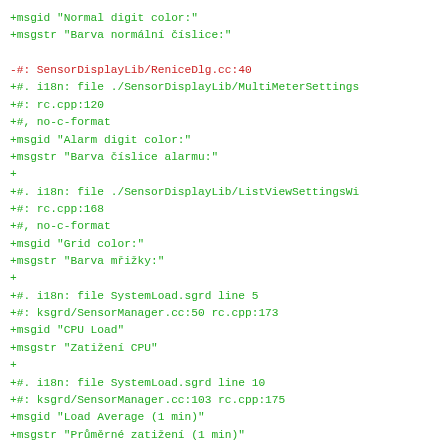+msgid "Normal digit color:"
+msgstr "Barva normální číslice:"

-#: SensorDisplayLib/ReniceDlg.cc:40
+#. i18n: file ./SensorDisplayLib/MultiMeterSettings
+#: rc.cpp:120
+#, no-c-format
+msgid "Alarm digit color:"
+msgstr "Barva číslice alarmu:"
+
+#. i18n: file ./SensorDisplayLib/ListViewSettingsWi
+#: rc.cpp:168
+#, no-c-format
+msgid "Grid color:"
+msgstr "Barva mřižky:"
+
+#. i18n: file SystemLoad.sgrd line 5
+#: ksgrd/SensorManager.cc:50 rc.cpp:173
+msgid "CPU Load"
+msgstr "Zatižení CPU"
+
+#. i18n: file SystemLoad.sgrd line 10
+#: ksgrd/SensorManager.cc:103 rc.cpp:175
+msgid "Load Average (1 min)"
+msgstr "Průměrné zatižení (1 min)"
+
+#. i18n: file SystemLoad.sgrd line 13
+#: ksgrd/SensorManager.cc:56 rc.cpp:177
+msgid "Physical Memory"
+msgstr "Fyzická pamět"